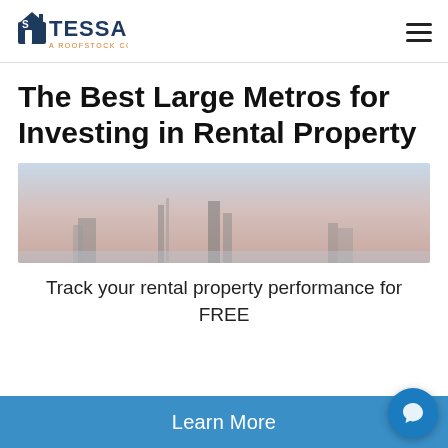STESSA - A ROOFSTOCK COMPANY
The Best Large Metros for Investing in Rental Property
[Figure (photo): Cityscape skyline with tall buildings against a pink and blue sky, Nashville or similar city.]
Track your rental property performance for FREE
Learn More